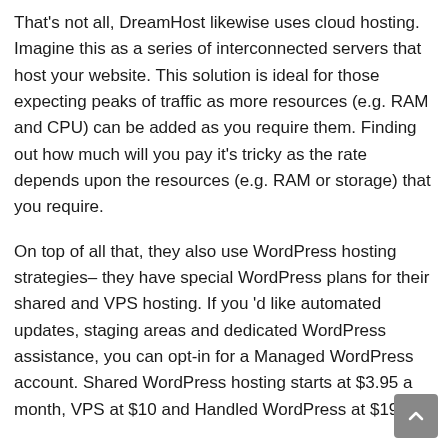That's not all, DreamHost likewise uses cloud hosting. Imagine this as a series of interconnected servers that host your website. This solution is ideal for those expecting peaks of traffic as more resources (e.g. RAM and CPU) can be added as you require them. Finding out how much will you pay it's tricky as the rate depends upon the resources (e.g. RAM or storage) that you require.
On top of all that, they also use WordPress hosting strategies– they have special WordPress plans for their shared and VPS hosting. If you 'd like automated updates, staging areas and dedicated WordPress assistance, you can opt-in for a Managed WordPress account. Shared WordPress hosting starts at $3.95 a month, VPS at $10 and Handled WordPress at $19.95.